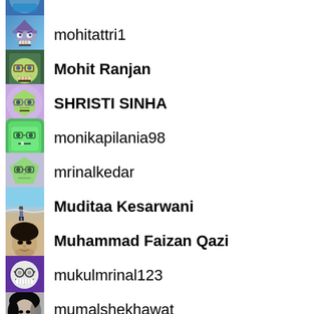(partial avatar - top clipped)
mohitattri1
Mohit Ranjan
SHRISTI SINHA
monikapilania98
mrinalkedar
Muditaa Kesarwani
Muhammad Faizan Qazi
mukulmrinal123
mumalshekhawat